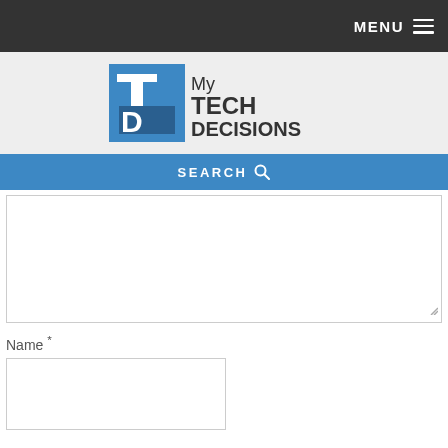MENU
[Figure (logo): My Tech Decisions logo with blue square containing 'TD' letters and text reading 'My TECH DECISIONS']
SEARCH
Name *